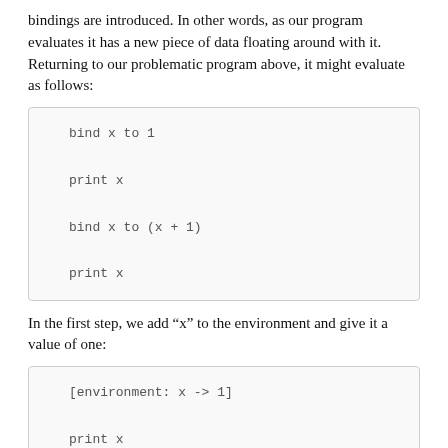bindings are introduced. In other words, as our program evaluates it has a new piece of data floating around with it. Returning to our problematic program above, it might evaluate as follows:
[Figure (other): Code block showing: bind x to 1 / print x / bind x to (x + 1) / print x]
In the first step, we add “x” to the environment and give it a value of one:
[Figure (other): Code block showing: [environment: x -> 1] / print x / bind x to (x+1) / print x]